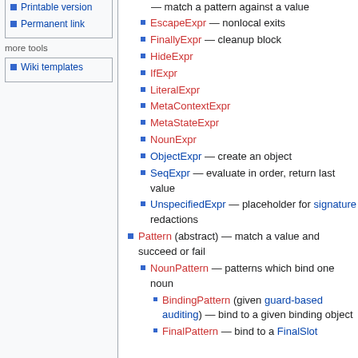Printable version
Permanent link
more tools
Wiki templates
— match a pattern against a value
EscapeExpr — nonlocal exits
FinallyExpr — cleanup block
HideExpr
IfExpr
LiteralExpr
MetaContextExpr
MetaStateExpr
NounExpr
ObjectExpr — create an object
SeqExpr — evaluate in order, return last value
UnspecifiedExpr — placeholder for signature redactions
Pattern (abstract) — match a value and succeed or fail
NounPattern — patterns which bind one noun
BindingPattern (given guard-based auditing) — bind to a given binding object
FinalPattern — bind to a FinalSlot